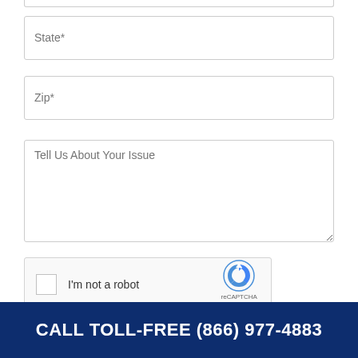[Figure (screenshot): Partial form input field at top of page (bottom edge visible)]
State*
Zip*
Tell Us About Your Issue
[Figure (screenshot): reCAPTCHA widget with checkbox labeled I'm not a robot, reCAPTCHA logo, Privacy and Terms links]
CALL TOLL-FREE (866) 977-4883